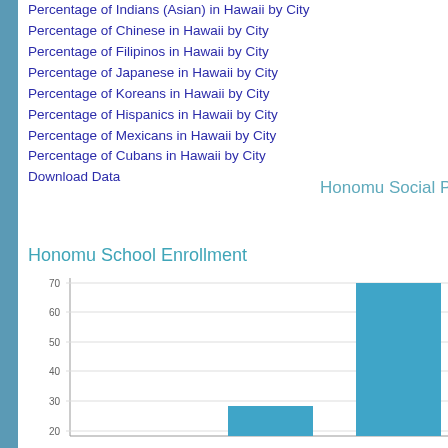Percentage of Indians (Asian) in Hawaii by City
Percentage of Chinese in Hawaii by City
Percentage of Filipinos in Hawaii by City
Percentage of Japanese in Hawaii by City
Percentage of Koreans in Hawaii by City
Percentage of Hispanics in Hawaii by City
Percentage of Mexicans in Hawaii by City
Percentage of Cubans in Hawaii by City
Download Data
Honomu Social Pro
Honomu School Enrollment
[Figure (bar-chart): Partial bar chart showing school enrollment data for Honomu. Y-axis visible from approximately 20 to 70. Two bars visible: one shorter bar around 10-12% and one tall bar reaching approximately 68%.]